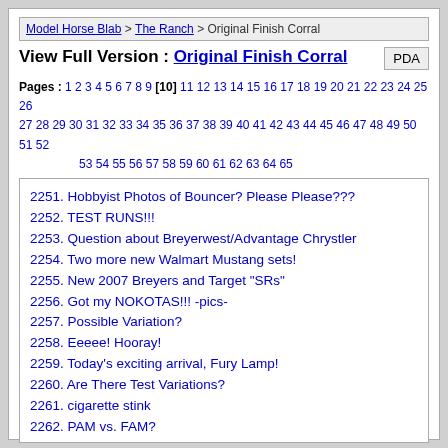Model Horse Blab > The Ranch > Original Finish Corral
View Full Version : Original Finish Corral
Pages : 1 2 3 4 5 6 7 8 9 [10] 11 12 13 14 15 16 17 18 19 20 21 22 23 24 25 26 27 28 29 30 31 32 33 34 35 36 37 38 39 40 41 42 43 44 45 46 47 48 49 50 51 52 53 54 55 56 57 58 59 60 61 62 63 64 65
2251. Hobbyist Photos of Bouncer? Please Please???
2252. TEST RUNS!!!
2253. Question about Breyerwest/Advantage Chrystler
2254. Two more new Walmart Mustang sets!
2255. New 2007 Breyers and Target "SRs"
2256. Got my NOKOTAS!!! -pics-
2257. Possible Variation?
2258. Eeeee! Hooray!
2259. Today's exciting arrival, Fury Lamp!
2260. Are There Test Variations?
2261. cigarette stink
2262. PAM vs. FAM?
2263. That new new Breyer smell....
2264. Old Mold Alabaster PAM: How Much Is She Worth?
2265. Looks like this is the pose for Keltic Salinero
2266. Poncho Rex color.. please respond ASAP!
2267. Keltec Salinero - how big?
2268. Got the Silvers! Pegasus Question...
2269. Oldest Breyer in your collection?
2270. Blackjack Riderless horse